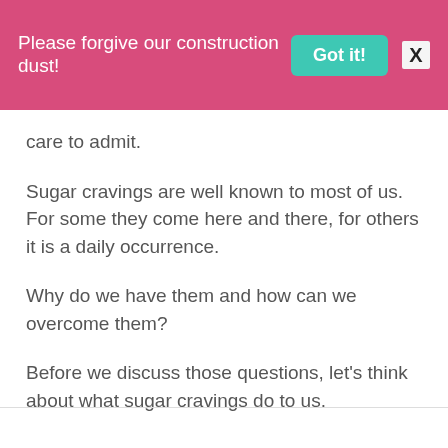Please forgive our construction dust! Got it! X
care to admit.
Sugar cravings are well known to most of us. For some they come here and there, for others it is a daily occurrence.
Why do we have them and how can we overcome them?
Before we discuss those questions, let's think about what sugar cravings do to us.